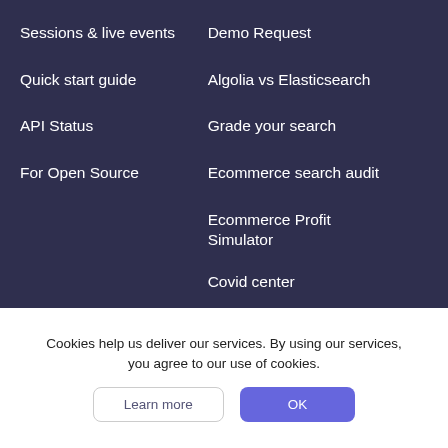Sessions & live events
Quick start guide
API Status
For Open Source
Demo Request
Algolia vs Elasticsearch
Grade your search
Ecommerce search audit
Ecommerce Profit Simulator
Covid center
Cookies help us deliver our services. By using our services, you agree to our use of cookies.
Learn more
OK